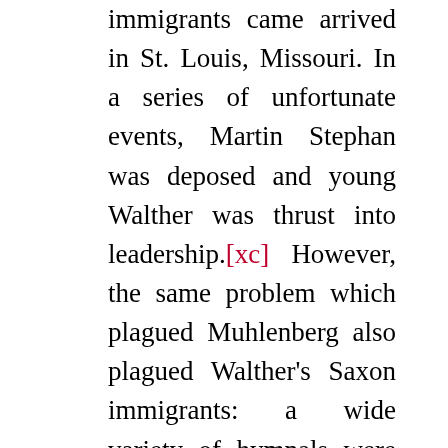immigrants came arrived in St. Louis, Missouri. In a series of unfortunate events, Martin Stephan was deposed and young Walther was thrust into leadership.[xc] However, the same problem which plagued Muhlenberg also plagued Walther's Saxon immigrants: a wide variety of hymnals were in use among them. Walther saw the opportunity to act in line with the principles of the confessional revival, and make the Lutheran Church's hymnody to be more confessional once more.[xci] In 1845, Walther brought up the need for a more confessional hymnal to his congregation. After being approved by the congregation, the hymnal appeared two years later.[xcii]  There were 437 hymns along “with a selection of prayers, antiphons, the Preface, Luther’s Small Catechism, and the Augsburg